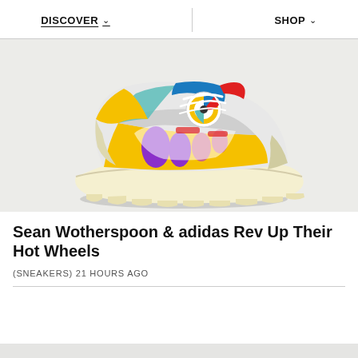DISCOVER   SHOP
[Figure (photo): Colorful adidas sneaker collaboration with Sean Wotherspoon and Hot Wheels. The shoe features a chunky white/cream sole, with multicolor upper panels in yellow, purple, red, teal, blue, and pink. The heel has a red and blue pull tab. White laces with colorful dial/lace cage on top. Background is light gray.]
Sean Wotherspoon & adidas Rev Up Their Hot Wheels
(SNEAKERS) 21 HOURS AGO